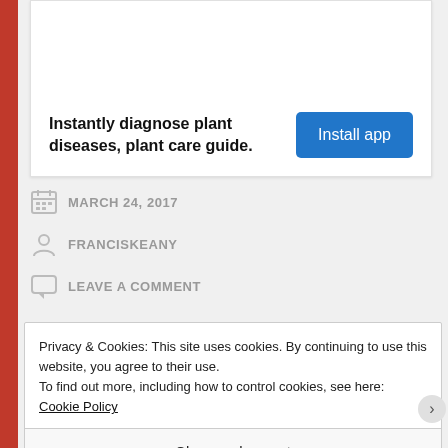[Figure (other): Advertisement banner: Instantly diagnose plant diseases, plant care guide. Install app button.]
MARCH 24, 2017
FRANCISKEANY
LEAVE A COMMENT
Privacy & Cookies: This site uses cookies. By continuing to use this website, you agree to their use.
To find out more, including how to control cookies, see here: Cookie Policy
Close and accept